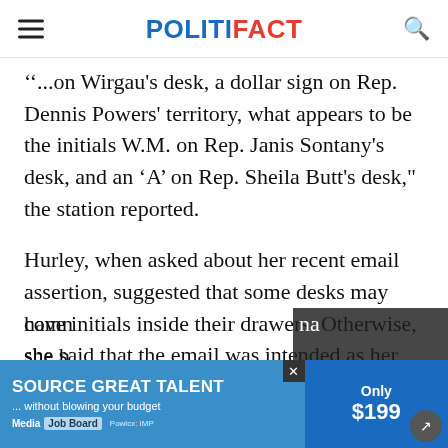POLITIFACT
...on Wirgau's desk, a dollar sign on Rep. Dennis Powers' territory, what appears to be the initials W.M. on Rep. Janis Sontany's desk, and an ‘A’ on Rep. Sheila Butt's desk," the station reported.
Hurley, when asked about her recent email assertion, suggested that some desks may have initials inside their drawers. Otherwise, she said that the email was intended as her final comm... she h...ia
[Figure (other): Advertisement banner: SOURCE GREAT TALENT ...without blowing your budget / Media Job Board / Only $199]